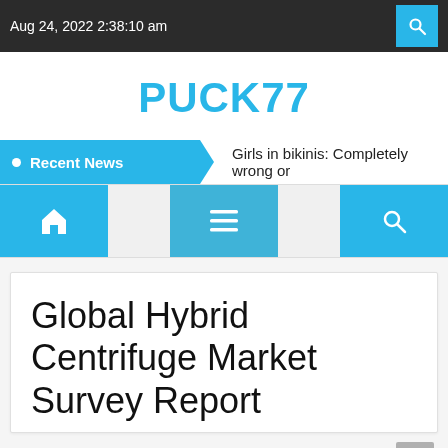Aug 24, 2022 2:38:10 am
PUCK77
Recent News   Girls in bikinis: Completely wrong or
[Figure (screenshot): Navigation bar with home icon, hamburger menu icon, and search icon, all on cyan/blue buttons]
Global Hybrid Centrifuge Market Survey Report